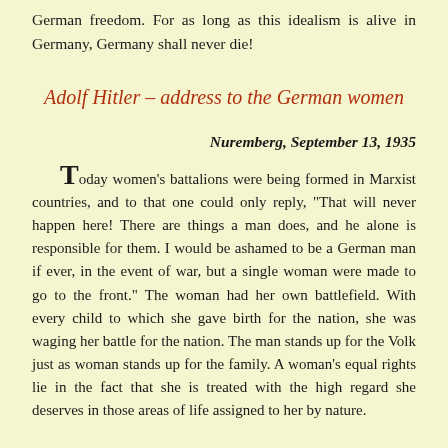German freedom. For as long as this idealism is alive in Germany, Germany shall never die!
Adolf Hitler – address to the German women
Nuremberg, September 13, 1935
Today women's battalions were being formed in Marxist countries, and to that one could only reply, "That will never happen here! There are things a man does, and he alone is responsible for them. I would be ashamed to be a German man if ever, in the event of war, but a single woman were made to go to the front." The woman had her own battlefield. With every child to which she gave birth for the nation, she was waging her battle for the nation. The man stands up for the Volk just as woman stands up for the family. A woman's equal rights lie in the fact that she is treated with the high regard she deserves in those areas of life assigned to her by nature.